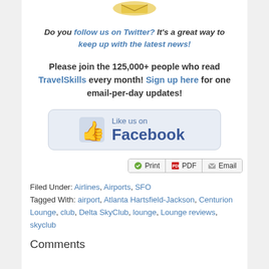[Figure (illustration): Partial illustration at top of page (bird/envelope graphic)]
Do you follow us on Twitter? It's a great way to keep up with the latest news!
Please join the 125,000+ people who read TravelSkills every month! Sign up here for one email-per-day updates!
[Figure (other): Like us on Facebook button with thumbs up icon]
[Figure (other): Print, PDF, Email action buttons]
Filed Under: Airlines, Airports, SFO
Tagged With: airport, Atlanta Hartsfield-Jackson, Centurion Lounge, club, Delta SkyClub, lounge, Lounge reviews, skyclub
Comments